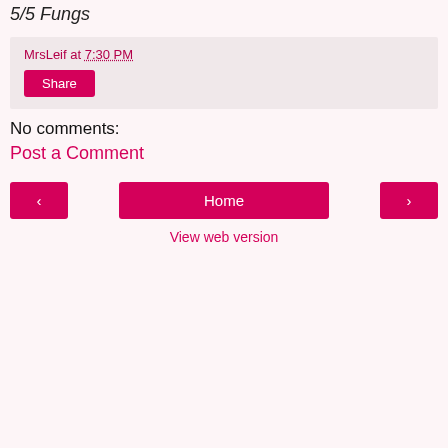5/5 Fungs
MrsLeif at 7:30 PM
Share
No comments:
Post a Comment
‹
Home
›
View web version